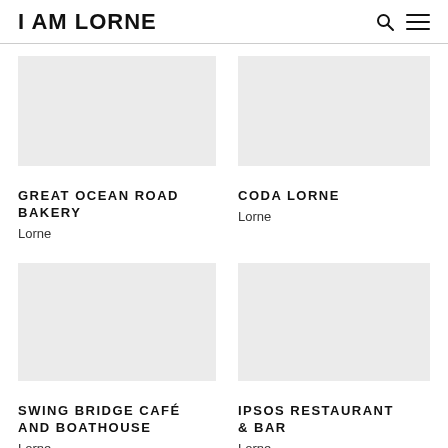I AM LORNE
GREAT OCEAN ROAD BAKERY
Lorne
CODA LORNE
Lorne
SWING BRIDGE CAFÉ AND BOATHOUSE
Lorne
IPSOS RESTAURANT & BAR
Lorne